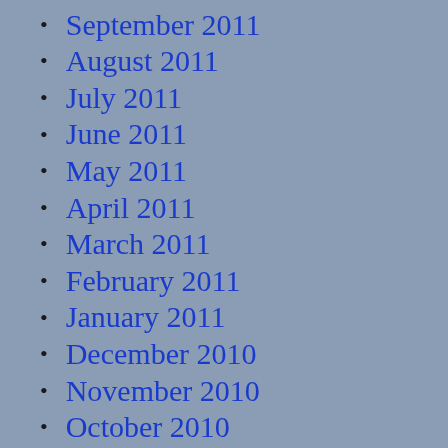October 2011
September 2011
August 2011
July 2011
June 2011
May 2011
April 2011
March 2011
February 2011
January 2011
December 2010
November 2010
October 2010
September 2010
August 2010
July 2010